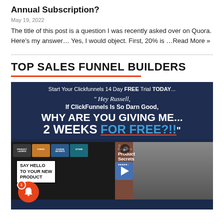Annual Subscription?
May 19, 2022
The title of this post is a question I was recently asked over on Quora. Here's my answer… Yes, I would object. First, 20% is …Read More »
TOP SALES FUNNEL BUILDERS
[Figure (screenshot): ClickFunnels 14 Day Free Trial promotional image showing text 'Hey Russell, If ClickFunnels Is So Darn Good, WHY ARE YOU GIVING ME... 2 WEEKS FOR FREE?!!' on a dark blue background, with a video player below showing a man and a 'SAY HELLO TO YOUR NEW PRODUCT' card, with a notification bell icon overlay]